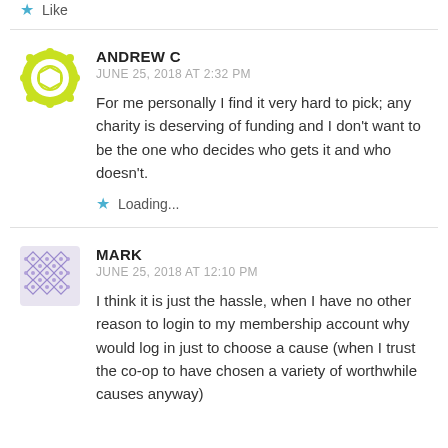Like
ANDREW C
JUNE 25, 2018 AT 2:32 PM
For me personally I find it very hard to pick; any charity is deserving of funding and I don't want to be the one who decides who gets it and who doesn't.
Loading...
MARK
JUNE 25, 2018 AT 12:10 PM
I think it is just the hassle, when I have no other reason to login to my membership account why would log in just to choose a cause (when I trust the co-op to have chosen a variety of worthwhile causes anyway)